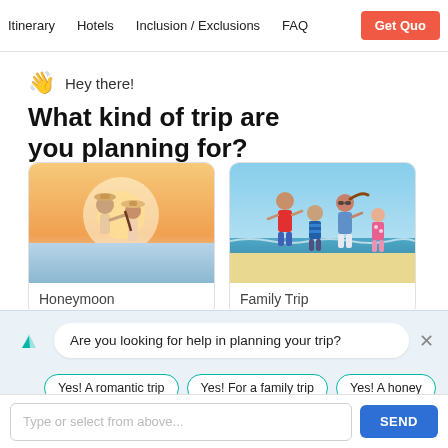Itinerary   Hotels   Inclusion / Exclusions   FAQ   Get Quo...
👋 Hey there!
What kind of trip are you planning for?
[Figure (photo): Couple silhouetted at sunset on a beach, wearing hats, romantic pose]
Honeymoon
[Figure (photo): Family of four running and laughing on a beach, sunny day]
Family Trip
Are you looking for help in planning your trip?
Yes! A romantic trip
Yes! For a family trip
Yes! A honey...
Type or select from above...
SEND